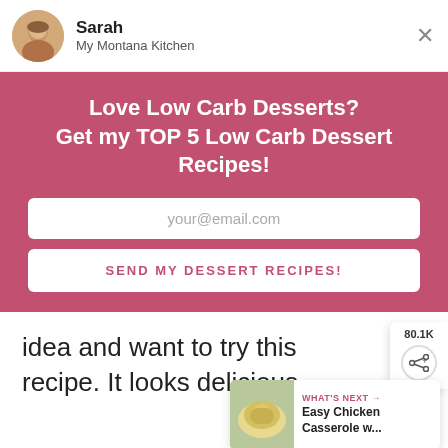[Figure (other): Website popup header with avatar photo of Sarah, site name My Montana Kitchen, and close button]
Love Low Carb Desserts?
Get my TOP 5 Low Carb Dessert Recipes!
your@email.com
SEND MY DESSERT RECIPES!
idea and want to try this recipe. It looks delicious.
80.1K
WHAT'S NEXT → Easy Chicken Casserole w...
You can help hungry kids. NO KID HUNGRY LEARN HOW